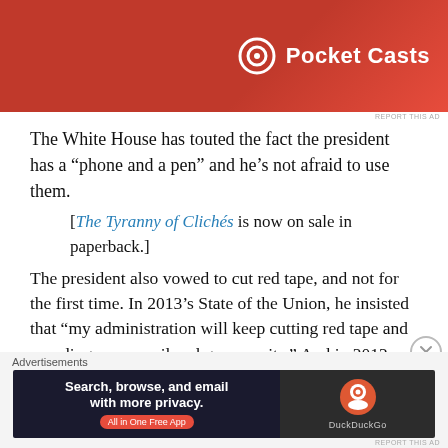[Figure (photo): Pocket Casts advertisement banner with red background and Pocket Casts logo]
The White House has touted the fact the president has a “phone and a pen” and he’s not afraid to use them.
[The Tyranny of Clichés is now on sale in paperback.]
The president also vowed to cut red tape, and not for the first time. In 2013’s State of the Union, he insisted that “my administration will keep cutting red tape and speeding up new oil and gas permits.” And in 2012: “In the next few weeks, I will sign an executive order clearing away the red tape that slows down too many construction projects.”
[Figure (photo): DuckDuckGo advertisement banner: Search, browse, and email with more privacy. All in One Free App]